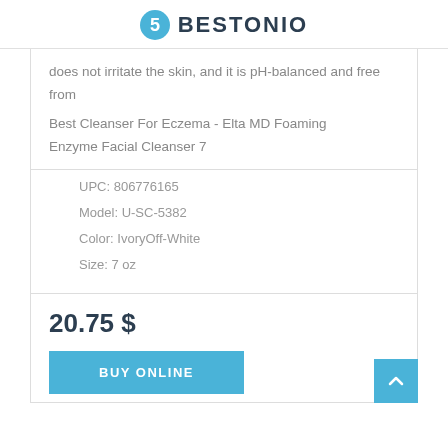BESTONIO
does not irritate the skin, and it is pH-balanced and free from
Best Cleanser For Eczema - Elta MD Foaming Enzyme Facial Cleanser 7
UPC: 806776165
Model: U-SC-5382
Color: IvoryOff-White
Size: 7 oz
20.75 $
BUY ONLINE